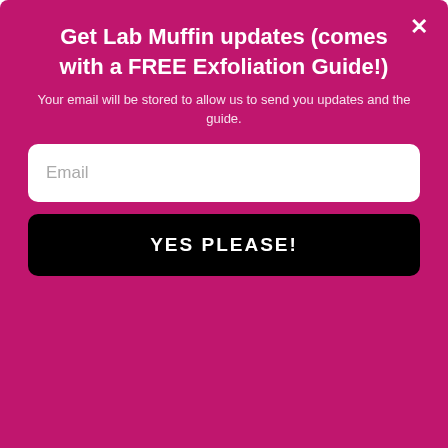Get Lab Muffin updates (comes with a FREE Exfoliation Guide!)
Your email will be stored to allow us to send you updates and the guide.
Email
YES PLEASE!
March 10, 2020 at 2:10 am
Such an amazing website and thanks for sharing good knowledge
Reply
[Figure (screenshot): Advertisement banner for Topgolf: 'Perfect activity for everyone' with Topgolf logo]